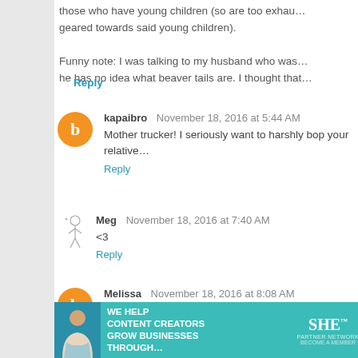The only people who like living in Ottawa are parents — those who have young children (so are too exhausted) geared towards said young children). Funny note: I was talking to my husband who was... he has no idea what beaver tails are. I thought that...
Reply
kapaibro  November 18, 2016 at 5:44 AM
Mother trucker! I seriously want to harshly bop your relative...
Reply
Meg  November 18, 2016 at 7:40 AM
<3
Reply
Melissa  November 18, 2016 at 8:08 AM
The negative feedback loops are so terrible and exha...
[Figure (infographic): SHE Partner Network advertisement banner: 'We help content creators grow businesses through...' with Learn More button]